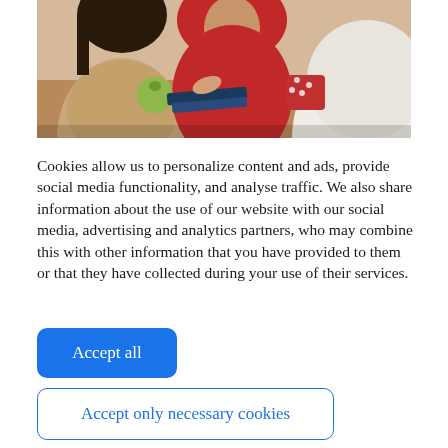[Figure (photo): Two or three people (women) sitting at a table, one wearing a red hijab and white top, another in a tan/beige knit sweater, possibly in a meeting or tutoring session. A green apple and notebooks are visible on the table.]
Cookies allow us to personalize content and ads, provide social media functionality, and analyse traffic. We also share information about the use of our website with our social media, advertising and analytics partners, who may combine this with other information that you have provided to them or that they have collected during your use of their services.
Accept all
Accept only necessary cookies